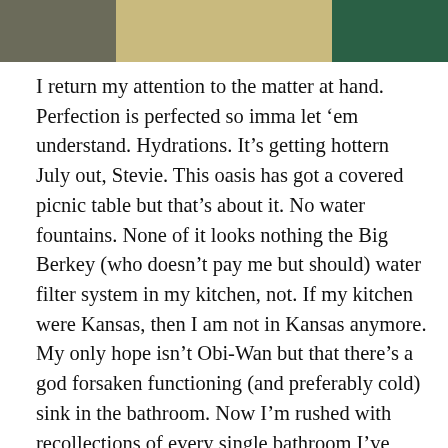[Figure (photo): A cropped photo strip at the top showing three segments: left segment is a dark olive/grey outdoor scene, middle segment is a tan/beige wall, right segment is a dark green surface or door.]
I return my attention to the matter at hand. Perfection is perfected so imma let ‘em understand. Hydrations. It’s getting hottern July out, Stevie. This oasis has got a covered picnic table but that’s about it. No water fountains. None of it looks nothing the Big Berkey (who doesn’t pay me but should) water filter system in my kitchen, not. If my kitchen were Kansas, then I am not in Kansas anymore. My only hope isn’t Obi-Wan but that there’s a god forsaken functioning (and preferably cold) sink in the bathroom. Now I’m rushed with recollections of every single bathroom I’ve ever used on a long bike ride. My life is flashing before my eyes for all I know. Is this the end? A series of shits and pisses and then lights out. Nope. Still not dead. But my mental optic is filing through the wide array of toilet diorama sort of Bob hope for health...